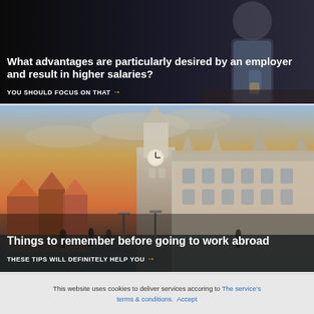What advantages are particularly desired by an employer and result in higher salaries?
YOU SHOULD FOCUS ON THAT →
[Figure (photo): Gothic/medieval European city architecture with tall spired tower and ornate buildings at sunset with dramatic orange and blue sky]
Things to remember before going to work abroad
THESE TIPS WILL DEFINITELY HELP YOU →
[Figure (photo): Partial view of people faces, blurred/cropped at bottom of page]
This website uses cookies to deliver services accoring to The service's terms & conditions. Accept